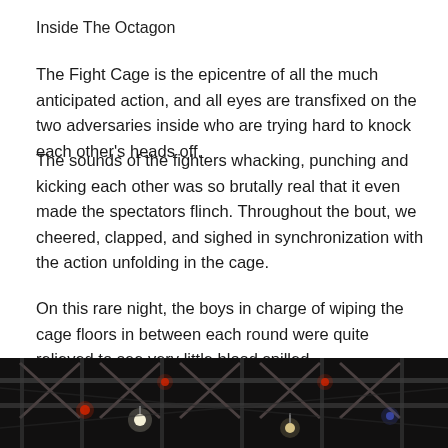Inside The Octagon
The Fight Cage is the epicentre of all the much anticipated action, and all eyes are transfixed on the two adversaries inside who are trying hard to knock each other’s heads off.
The sounds of the fighters whacking, punching and kicking each other was so brutally real that it even made the spectators flinch. Throughout the bout, we cheered, clapped, and sighed in synchronization with the action unfolding in the cage.
On this rare night, the boys in charge of wiping the cage floors in between each round were quite relieved to see very little blood spilled.
[Figure (photo): Dark photo showing metal truss/scaffold structure with red and white lights visible, taken from below inside an arena or venue]